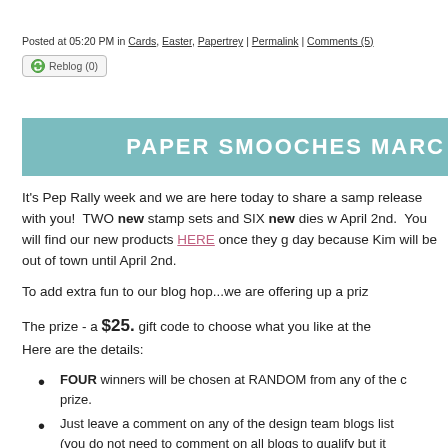Posted at 05:20 PM in Cards, Easter, Papertrey | Permalink | Comments (5)
Reblog (0)
PAPER SMOOCHES MARC
It's Pep Rally week and we are here today to share a samp release with you! TWO new stamp sets and SIX new dies w April 2nd. You will find our new products HERE once they g day because Kim will be out of town until April 2nd.
To add extra fun to our blog hop...we are offering up a priz
The prize - a $25. gift code to choose what you like at the
Here are the details:
FOUR winners will be chosen at RANDOM from any of the c prize.
Just leave a comment on any of the design team blogs list (you do not need to comment on all blogs to qualify but it